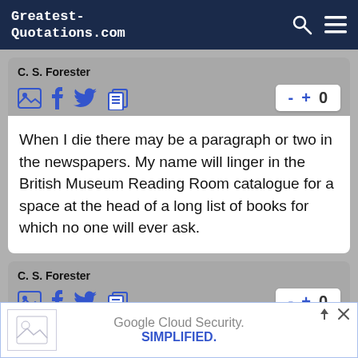Greatest-Quotations.com
C. S. Forester
When I die there may be a paragraph or two in the newspapers. My name will linger in the British Museum Reading Room catalogue for a space at the head of a long list of books for which no one will ever ask.
C. S. Forester
Google Cloud Security. SIMPLIFIED.